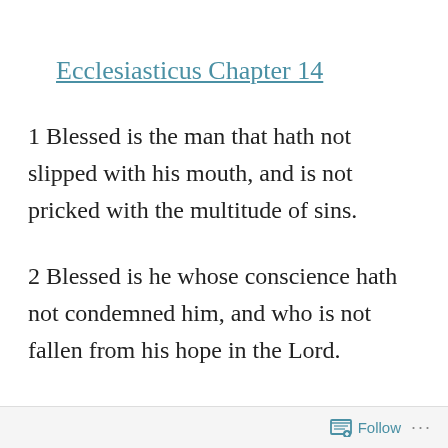Ecclesiasticus Chapter 14
1 Blessed is the man that hath not slipped with his mouth, and is not pricked with the multitude of sins.
2 Blessed is he whose conscience hath not condemned him, and who is not fallen from his hope in the Lord.
Follow ...